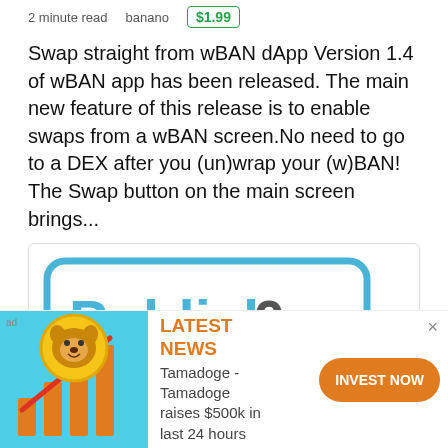2 minute read   banano   $1.99
Swap straight from wBAN dApp Version 1.4 of wBAN app has been released. The main new feature of this release is to enable swaps from a wBAN screen.No need to go to a DEX after you (un)wrap your (w)BAN! The Swap button on the main screen brings...
[Figure (logo): Publish0x logo — a speech bubble outline in light blue containing the text 'Publish0x' where 'Publish' is in blue and '0x' is in dark grey]
[Figure (infographic): Advertisement banner: Tamadoge dog coin mascot with upward arrow and bar chart on teal background. Text reads LATEST NEWS Tamadoge - Tamadoge raises $500k in last 24 hours. Orange INVEST NOW button.]